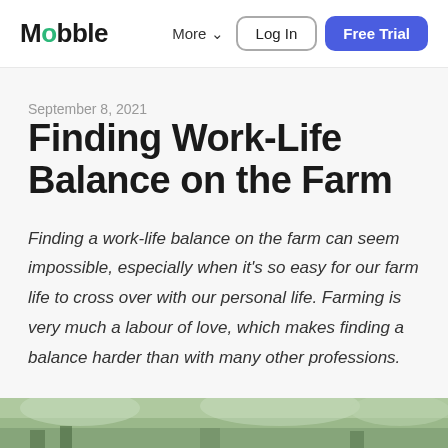Mobble | More  Log In  Free Trial
September 8, 2021
Finding Work-Life Balance on the Farm
Finding a work-life balance on the farm can seem impossible, especially when it’s so easy for our farm life to cross over with our personal life. Farming is very much a labour of love, which makes finding a balance harder than with many other professions.
[Figure (photo): Outdoor farm scene photo, partially visible at the bottom of the page]